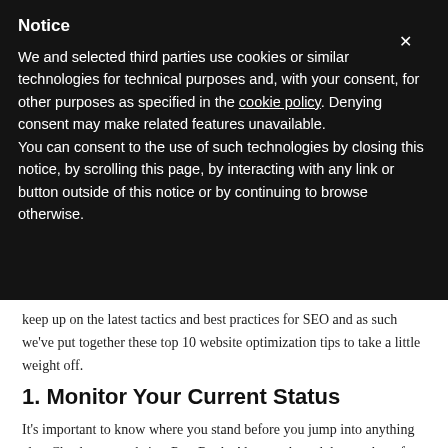Notice
We and selected third parties use cookies or similar technologies for technical purposes and, with your consent, for other purposes as specified in the cookie policy. Denying consent may make related features unavailable.
You can consent to the use of such technologies by closing this notice, by scrolling this page, by interacting with any link or button outside of this notice or by continuing to browse otherwise.
keep up on the latest tactics and best practices for SEO and as such we've put together these top 10 website optimization tips to take a little weight off.
1. Monitor Your Current Status
It's important to know where you stand before you jump into anything else. Check your websites PageRank, Alexa rank, and the number of indexed pages on Bing and Google. Additionally,